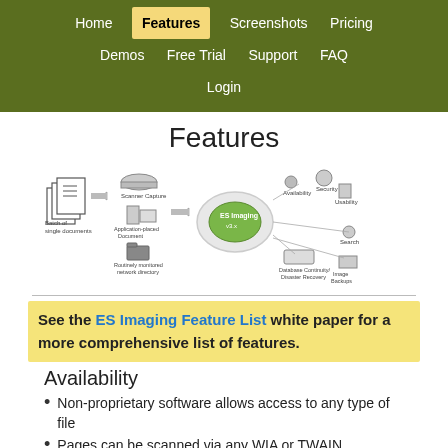Home | Features | Screenshots | Pricing | Demos | Free Trial | Support | FAQ | Login
Features
[Figure (infographic): Workflow diagram showing: Batch of single documents → Scanner Capture / Application-placed Document / Routinely monitored network directory → (arrow) → ES Imaging hub → Security, Availability, Usability, Search, Database Continuity/Disaster Recovery, Image Backups]
See the ES Imaging Feature List white paper for a more comprehensive list of features.
Availability
Non-proprietary software allows access to any type of file
Pages can be scanned via any WIA or TWAIN compatible scanner
Digital pictures can be captured from any WIA compatible digital camera,